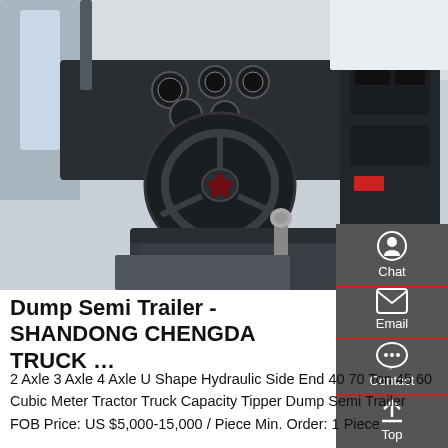[Figure (photo): Interior cab view of a truck showing steering wheel, dashboard with gauges, gear shift, and driver seat]
Dump Semi Trailer - SHANDONG CHENGDA TRUCK …
2 Axle 3 Axle 4 Axle U Shape Hydraulic Side End 40 70 Ton 45 60 Cubic Meter Tractor Truck Capacity Tipper Dump Semi Trailer FOB Price: US $5,000-15,000 / Piece Min. Order: 1 Piece